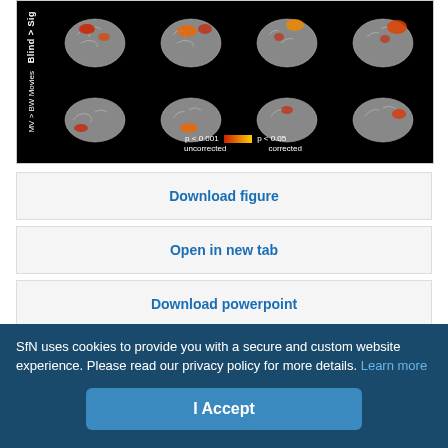[Figure (other): Brain imaging figure showing Blind > Sighted ISC activations on cortical surface renderings. Two rows of brain images (lateral and medial views). Labels: Blind > Sig, MV > BW Movies. Color scale: p < 0.001 uncorrected (red-yellow), p < 0.05 corrected (red).]
Download figure
Open in new tab
Download powerpoint
Figure 1.
Whole-cortex ISCs. ISCs for the backward stimulus, all audio-movie stimuli, and for the comparison of audio-movie to the backward (MV > BW)...
SfN uses cookies to provide you with a secure and custom website experience. Please read our privacy policy for more details. Learn more
I Accept